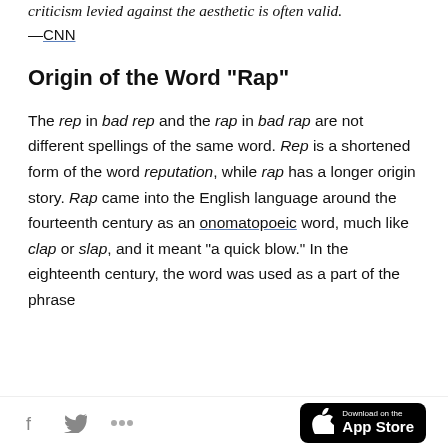criticism levied against the aesthetic is often valid.
—CNN
Origin of the Word “Rap”
The rep in bad rep and the rap in bad rap are not different spellings of the same word. Rep is a shortened form of the word reputation, while rap has a longer origin story. Rap came into the English language around the fourteenth century as an onomatopoeic word, much like clap or slap, and it meant “a quick blow.” In the eighteenth century, the word was used as a part of the phrase
Download on the App Store